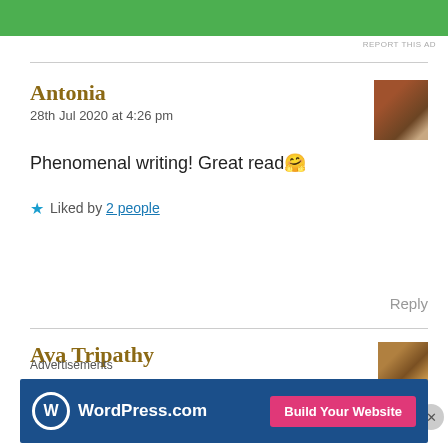[Figure (other): Green advertisement banner at top of page]
REPORT THIS AD
Antonia
28th Jul 2020 at 4:26 pm
[Figure (photo): Avatar photo of commenter Antonia showing brown hair]
Phenomenal writing! Great read🤗
★ Liked by 2 people
Reply
Ava Tripathy
[Figure (photo): Avatar photo of commenter Ava Tripathy]
Advertisements
[Figure (other): WordPress.com advertisement banner with Build Your Website button]